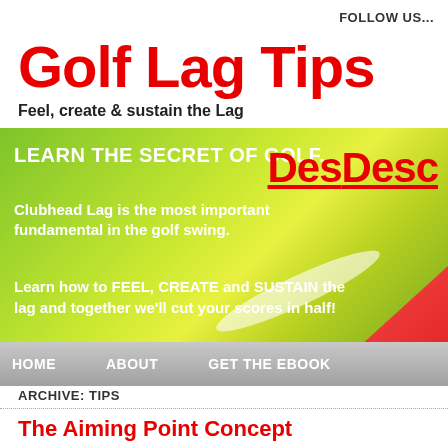FOLLOW US...
Golf Lag Tips
Feel, create & sustain the Lag
[Figure (screenshot): Green gradient banner with white bold text: LEARN THE SECRET OF GOLF... Clubhead Lag is the most important fundamental in the golf swing. Learn how to FEEL, CREATE and SUSTAIN the lag and together we'll cut your scores in half! Red 'Desc' label top right. Navigation bar below with HOME, ABOUT, GET THE EBOOK.]
ARCHIVE: TIPS
The Aiming Point Concept